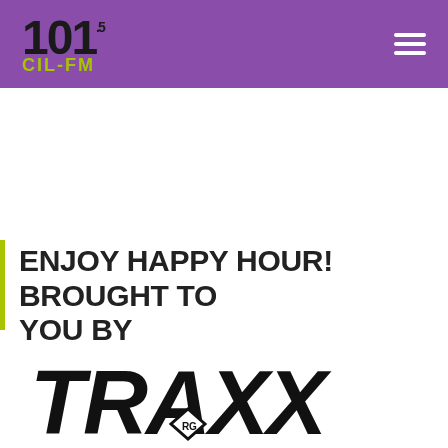101.5 CIL-FM
ENJOY HAPPY HOUR! BROUGHT TO YOU BY
[Figure (logo): TRAXX logo in bold black lettering with decorative styling]